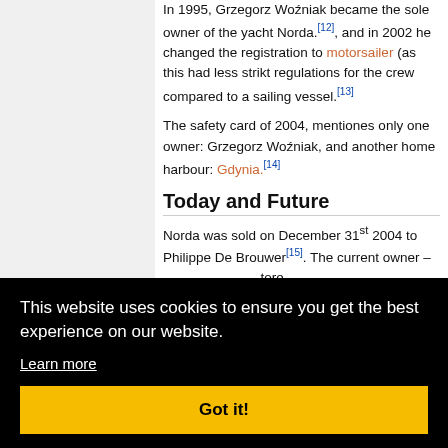In 1995, Grzegorz Woźniak became the sole owner of the yacht Norda.[12], and in 2002 he changed the registration to motorsailer (as this had less strikt regulations for the crew compared to a sailing vessel.[13]
The safety card of 2004, mentiones only one owner: Grzegorz Woźniak, and another home harbour: Gdynia.[14]
Today and Future
Norda was sold on December 31st 2004 to Philippe De Brouwer[15]. The current owner – ...tore ...oth the ...ntique ...d central ...lted in a ...n, and ...isiting ...ut 80 ...since.[16]
This website uses cookies to ensure you get the best experience on our website. Learn more
Got it!